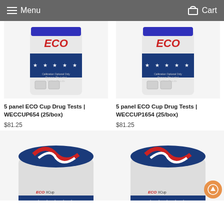Menu  Cart
[Figure (photo): ECO Cup drug test container with blue stars band and red ECO logo, top portion visible]
5 panel ECO Cup Drug Tests | WECCUP654 (25/box)
$81.25
[Figure (photo): ECO Cup drug test container with blue stars band and red ECO logo, top portion visible]
5 panel ECO Cup Drug Tests | WECCUP1654 (25/box)
$81.25
[Figure (photo): ECO II Cup drug test container with blue lid showing red/white swirl design]
[Figure (photo): ECO II Cup drug test container with blue lid showing red/white swirl design, scroll-to-top button overlay]